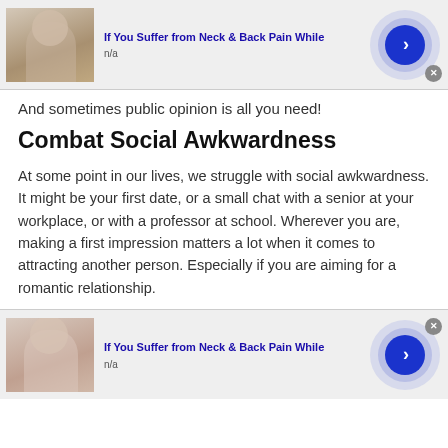[Figure (screenshot): Ad banner: 'If You Suffer from Neck & Back Pain While', n/a, with person image and blue arrow button]
And sometimes public opinion is all you need!
Combat Social Awkwardness
At some point in our lives, we struggle with social awkwardness. It might be your first date, or a small chat with a senior at your workplace, or with a professor at school. Wherever you are, making a first impression matters a lot when it comes to attracting another person. Especially if you are aiming for a romantic relationship.
[Figure (screenshot): Ad banner: 'If You Suffer from Neck & Back Pain While', n/a, with woman image and blue arrow button]